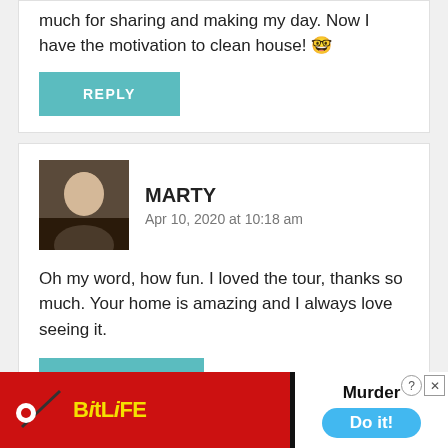much for sharing and making my day. Now I have the motivation to clean house! 🤓
REPLY
MARTY
Apr 10, 2020 at 10:18 am
Oh my word, how fun. I loved the tour, thanks so much. Your home is amazing and I always love seeing it.
[Figure (screenshot): BitLife advertisement banner with Murder Do it! text]